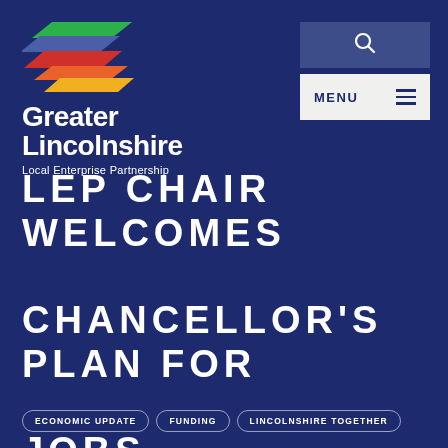[Figure (logo): Greater Lincolnshire Local Enterprise Partnership logo with colourful chevron/arrow shapes in green, purple/blue, red, orange, and yellow above the text 'Greater Lincolnshire Local Enterprise Partnership']
LEP CHAIR WELCOMES CHANCELLOR'S PLAN FOR JOBS
ECONOMIC UPDATE
FUNDING
LINCOLNSHIRE TOGETHER